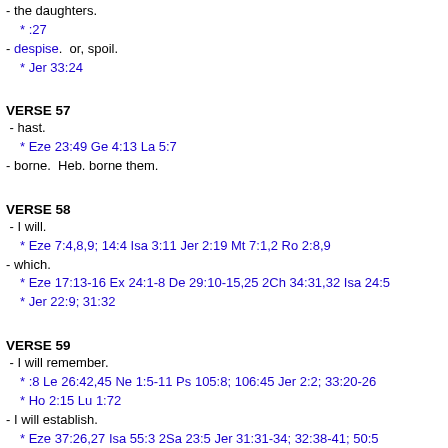- the daughters.
* :27
- despise.  or, spoil.
* Jer 33:24
VERSE 57
- hast.
* Eze 23:49 Ge 4:13 La 5:7
- borne.  Heb. borne them.
VERSE 58
- I will.
* Eze 7:4,8,9; 14:4 Isa 3:11 Jer 2:19 Mt 7:1,2 Ro 2:8,9
- which.
* Eze 17:13-16 Ex 24:1-8 De 29:10-15,25 2Ch 34:31,32 Isa 24:5
* Jer 22:9; 31:32
VERSE 59
- I will remember.
* :8 Le 26:42,45 Ne 1:5-11 Ps 105:8; 106:45 Jer 2:2; 33:20-26
* Ho 2:15 Lu 1:72
- I will establish.
* Eze 37:26,27 Isa 55:3 2Sa 23:5 Jer 31:31-34; 32:38-41; 50:5
* Ho 2:19,20 Heb 8:10; 12:24; 13:20
VERSE 60